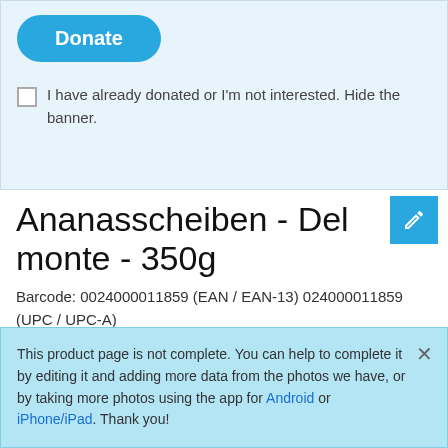[Figure (screenshot): Donate button (blue rounded rectangle) inside a light blue banner]
I have already donated or I'm not interested. Hide the banner.
Ananasscheiben - Del monte - 350g
Barcode: 0024000011859 (EAN / EAN-13) 024000011859 (UPC / UPC-A)
This product page is not complete. You can help to complete it by editing it and adding more data from the photos we have, or by taking more photos using the app for Android or iPhone/iPad. Thank you!